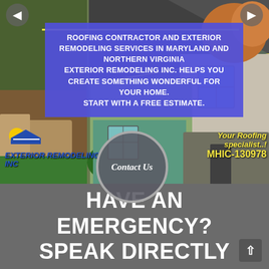[Figure (screenshot): Website screenshot showing roofing and exterior remodeling company banner with outdoor/house photos as background]
ROOFING CONTRACTOR AND EXTERIOR REMODELING SERVICES IN MARYLAND AND NORTHERN VIRGINIA EXTERIOR REMODELING INC. HELPS YOU CREATE SOMETHING WONDERFUL FOR YOUR HOME. START WITH A FREE ESTIMATE.
EXTERIOR REMODELING INC
Your Roofing specialist..!
MHIC-130978
Contact Us
HAVE AN EMERGENCY? SPEAK DIRECTLY